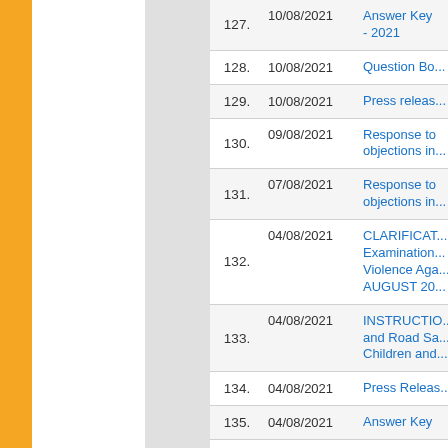| No. | Date | Link |
| --- | --- | --- |
| 127. | 10/08/2021 | Answer Key - 2021 |
| 128. | 10/08/2021 | Question Bo... |
| 129. | 10/08/2021 | Press releas... |
| 130. | 09/08/2021 | Response to objections in... |
| 131. | 07/08/2021 | Response to objections in... |
| 132. | 04/08/2021 | CLARIFICAT... Examination... Violence Aga... AUGUST 20... |
| 133. | 04/08/2021 | INSTRUCTIO... and Road Sa... Children and... |
| 134. | 04/08/2021 | Press Releas... |
| 135. | 04/08/2021 | Answer Key |
| 136. | 04/08/2021 | Question Bo... |
| 137. | 04/08/2021 | Schedule for... Exams. |
| 138. | 03/08/2021 | Press Releas... |